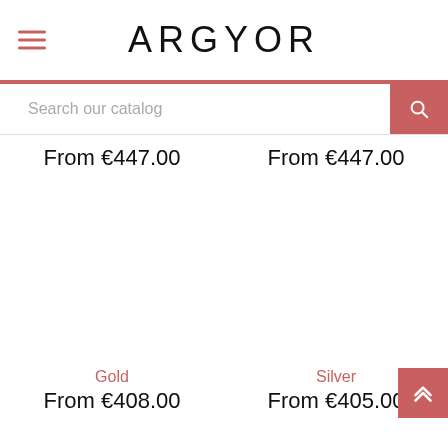ARGYOR
Search our catalog
From €447.00
From €447.00
Gold
From €408.00
Silver
From €405.00